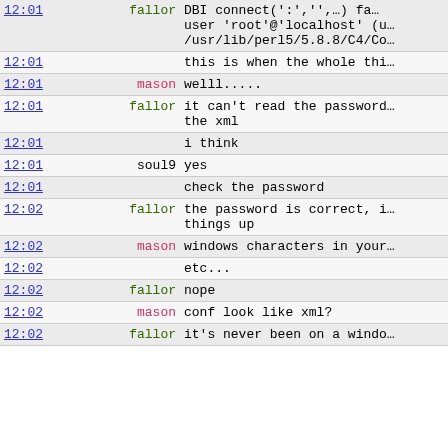| time | user | message |
| --- | --- | --- |
| 12:01 | fallor | DBI connect(':','',…) fa… user 'root'@'localhost' (u… /usr/lib/perl5/5.8.8/C4/Co… |
| 12:01 |  | this is when the whole thi… |
| 12:01 | mason | welll..... |
| 12:01 | fallor | it can't read the password… the xml |
| 12:01 |  | i think |
| 12:01 | soul9 | yes |
| 12:01 |  | check the password |
| 12:02 | fallor | the password is correct, i… things up |
| 12:02 | mason | windows characters in your… |
| 12:02 |  | etc... |
| 12:02 | fallor | nope |
| 12:02 | mason | conf look like xml? |
| 12:02 | fallor | it's never been on a windo… |